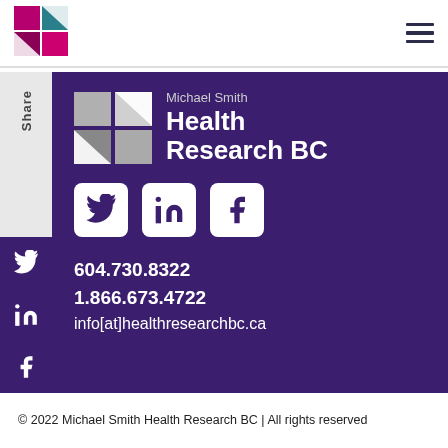[Figure (logo): Michael Smith Health Research BC logo in header — colored mosaic squares with arrow]
[Figure (logo): Hamburger menu icon (three horizontal lines)]
[Figure (logo): Michael Smith Health Research BC full logo (white mosaic + text) in purple footer area]
Share
[Figure (logo): Twitter, LinkedIn, Facebook social media icons in white rounded boxes]
604.730.8322
1.866.673.4722
info[at]healthresearchbc.ca
© 2022 Michael Smith Health Research BC | All rights reserved